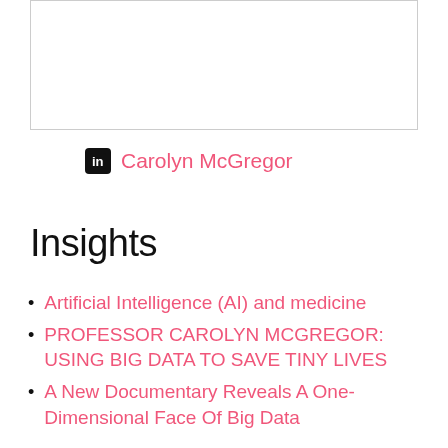[Figure (photo): Image placeholder at top of page, bordered rectangle]
Carolyn McGregor
Insights
Artificial Intelligence (AI) and medicine
PROFESSOR CAROLYN MCGREGOR: USING BIG DATA TO SAVE TINY LIVES
A New Documentary Reveals A One-Dimensional Face Of Big Data